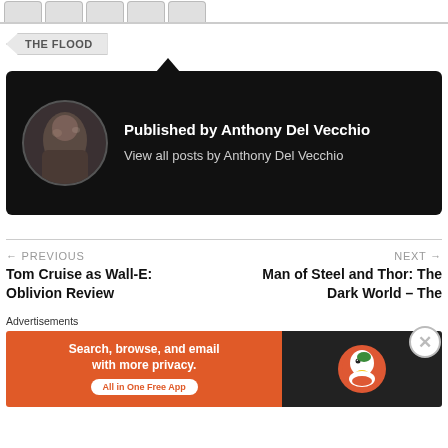THE FLOOD
[Figure (illustration): Dark author card with circular avatar photo and author attribution text on black background with small triangle pointer at top]
Published by Anthony Del Vecchio
View all posts by Anthony Del Vecchio
← PREVIOUS
Tom Cruise as Wall-E: Oblivion Review
NEXT →
Man of Steel and Thor: The Dark World – The
Advertisements
[Figure (screenshot): DuckDuckGo advertisement banner: Search, browse, and email with more privacy. All in One Free App. Orange left panel with white text and DuckDuckGo duck logo on dark right panel.]